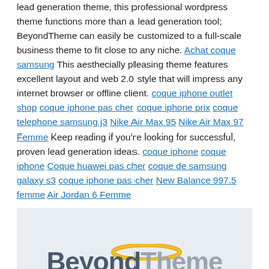lead generation theme, this professional wordpress theme functions more than a lead generation tool; BeyondTheme can easily be customized to a full-scale business theme to fit close to any niche. Achat coque samsung This aesthetically pleasing theme features excellent layout and web 2.0 style that will impress any internet browser or offline client. coque iphone outlet shop coque iphone pas cher coque iphone prix coque telephone samsung j3 Nike Air Max 95 Nike Air Max 97 Femme Keep reading if you're looking for successful, proven lead generation ideas. coque iphone coque iphone Coque huawei pas cher coque de samsung galaxy s3 coque iphone pas cher New Balance 997.5 femme Air Jordan 6 Femme
[Figure (logo): BeyondTheme logo with halo graphic above text reading 'BeyondTheme' and tagline 'An Evolutionary Lead Generation Theme', with a red badge/seal at the bottom center, on a light blue-grey background.]